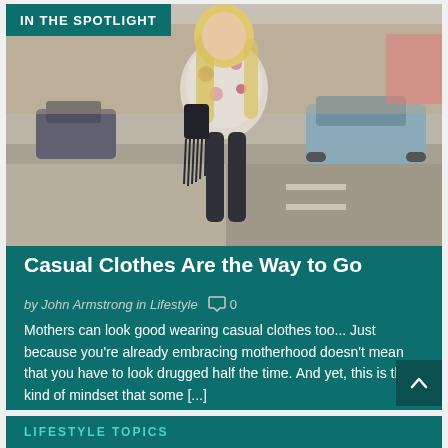IN THE SPOTLIGHT
[Figure (photo): A woman in a floral jacket with black jeans and a fringed bag standing on a city street with cars and buildings in the background]
Casual Clothes Are the Way to Go
by John Armstrong in Lifestyle  ◯ 0
Mothers can look good wearing casual clothes too... Just because you're already embracing motherhood doesn't mean that you have to look drugged half the time. And yet, this is the kind of mindset that some [...]
LIFESTYLE TOPICS